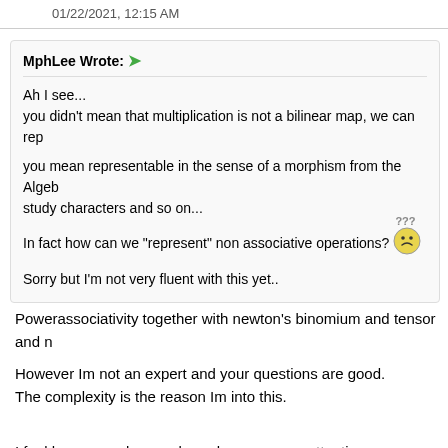01/22/2021, 12:15 AM
MphLee Wrote: →

Ah I see...
you didn't mean that multiplication is not a bilinear map, we can rep

you mean representable in the sense of a morphism from the Algeb study characters and so on...

In fact how can we "represent" non associative operations? ???

Sorry but I'm not very fluent with this yet..
Powerassociativity together with newton's binomium and tensor and n
However Im not an expert and your questions are good.
The complexity is the reason Im into this.
I feel hypercomplex numbers deserve more attention.
Maybe it is hidden or maybe it is not investigated sufficiently.
Or both.